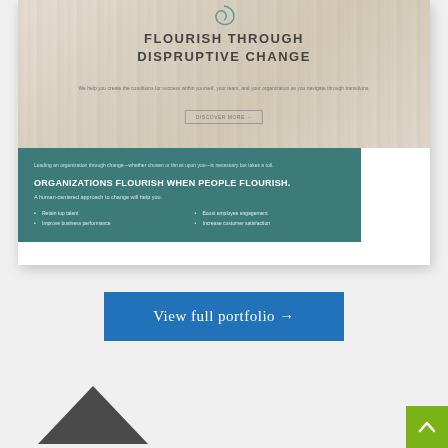[Figure (screenshot): Website screenshot showing a hero section with title 'FLOURISH THROUGH DISPRUTIVE CHANGE' over a light wood/birch tree background, with a teal section below containing the headline 'ORGANIZATIONS FLOURISH WHEN PEOPLE FLOURISH.' and bullet points about retaining talent, improving business performance, boosting employee engagement, and increasing customer satisfaction.]
View full portfolio →
[Figure (other): Dark gray upward-pointing triangle shape at bottom left]
[Figure (other): Green square button with upward chevron arrow (scroll to top)]